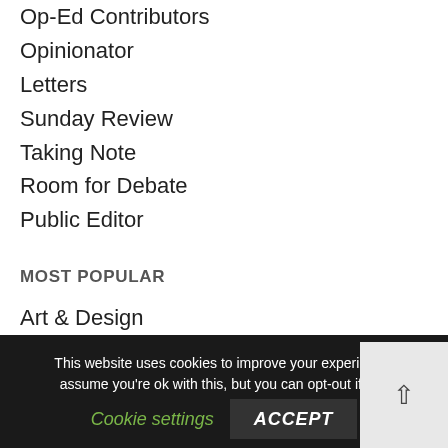Op-Ed Contributors
Opinionator
Letters
Sunday Review
Taking Note
Room for Debate
Public Editor
MOST POPULAR
Art & Design
World
Blog
Business
Culture
This website uses cookies to improve your experience. We'll assume you're ok with this, but you can opt-out if you wish.
Cookie settings
ACCEPT